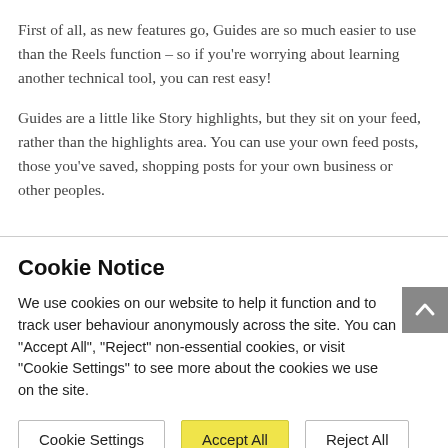First of all, as new features go, Guides are so much easier to use than the Reels function – so if you're worrying about learning another technical tool, you can rest easy!
Guides are a little like Story highlights, but they sit on your feed, rather than the highlights area. You can use your own feed posts, those you've saved, shopping posts for your own business or other peoples.
Cookie Notice
We use cookies on our website to help it function and to track user behaviour anonymously across the site. You can "Accept All", "Reject" non-essential cookies, or visit "Cookie Settings" to see more about the cookies we use on the site.